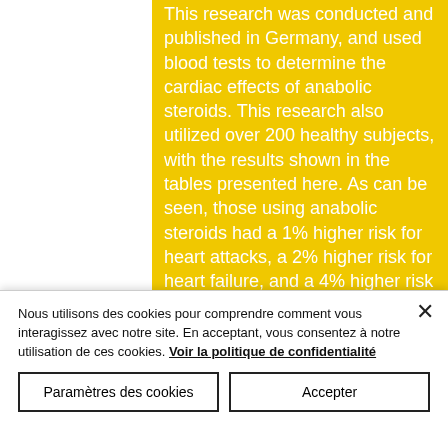This research was conducted and published in Germany, and used blood tests to determine the cardiac effects of anabolic steroids. This research also utilized over 200 healthy subjects, with the results shown in the tables presented here. As can be seen, those using anabolic steroids had a 1% higher risk for heart attacks, a 2% higher risk for heart failure, and a 4% higher risk for high blood pressure, side effects nasal steroids. The authors did note that the effects were not as prominent in the elderly, people with high blood pressure, people who smoke, women who are overweight, people
Nous utilisons des cookies pour comprendre comment vous interagissez avec notre site. En acceptant, vous consentez à notre utilisation de ces cookies. Voir la politique de confidentialité